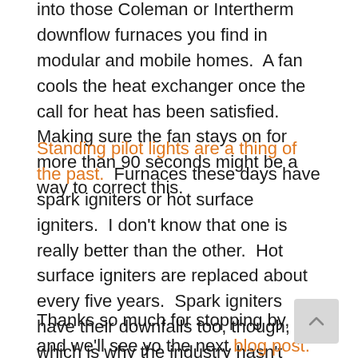into those Coleman or Intertherm downflow furnaces you find in modular and mobile homes.  A fan cools the heat exchanger once the call for heat has been satisfied.  Making sure the fan stays on for more than 90 seconds might be a way to correct this.
Standing pilot lights are a thing of the past.  Furnaces these days have spark igniters or hot surface igniters.  I don't know that one is really better than the other.  Hot surface igniters are replaced about every five years.  Spark igniters have their downfalls too, though, which is why the industry hasn't dedicated itself to one technology or the other.
Thanks so much for stopping by, and we'll see yo the next blog post.